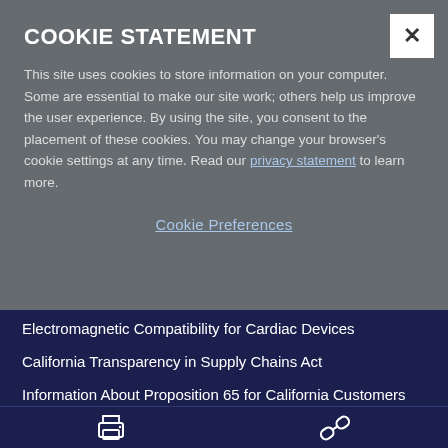COOKIE STATEMENT
This site uses cookies to store information on your computer. Some are essential to make our site work; others help us improve the user experience. By using the site, you consent to the placement of these cookies. You may change your browser's cookie settings at any time. Read our privacy statement to learn more.
Cookie Preferences
Electromagnetic Compatibility for Cardiac Devices
California Transparency in Supply Chains Act
Information About Proposition 65 for California Customers
Digital Millennium Copyright Act (DMCA) Notification
[Figure (illustration): Footer icon bar with a print icon and a link/chain icon on a dark navy background]